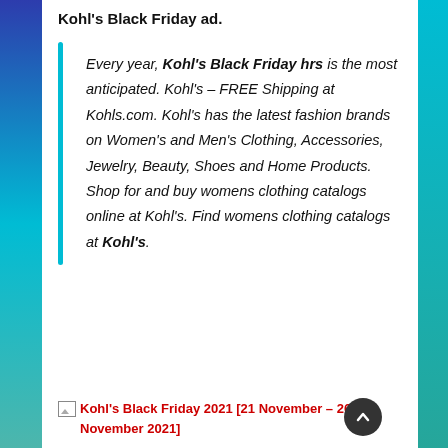Kohl's Black Friday ad.
Every year, Kohl's Black Friday hrs is the most anticipated. Kohl's – FREE Shipping at Kohls.com. Kohl's has the latest fashion brands on Women's and Men's Clothing, Accessories, Jewelry, Beauty, Shoes and Home Products. Shop for and buy womens clothing catalogs online at Kohl's. Find womens clothing catalogs at Kohl's.
[Figure (other): Broken image placeholder for Kohl's Black Friday 2021 [21 November – 26 November 2021]]
Kohl's Black Friday 2021 [21 November – 26 November 2021]